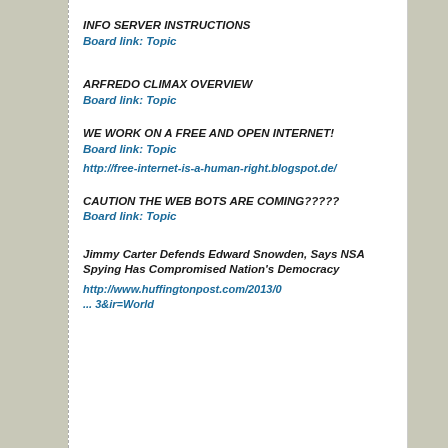INFO SERVER INSTRUCTIONS
Board link: Topic
ARFREDO CLIMAX OVERVIEW
Board link: Topic
WE WORK ON A FREE AND OPEN INTERNET!
Board link: Topic
http://free-internet-is-a-human-right.blogspot.de/
CAUTION THE WEB BOTS ARE COMING?????
Board link: Topic
Jimmy Carter Defends Edward Snowden, Says NSA Spying Has Compromised Nation's Democracy
http://www.huffingtonpost.com/2013/0… 3&ir=World